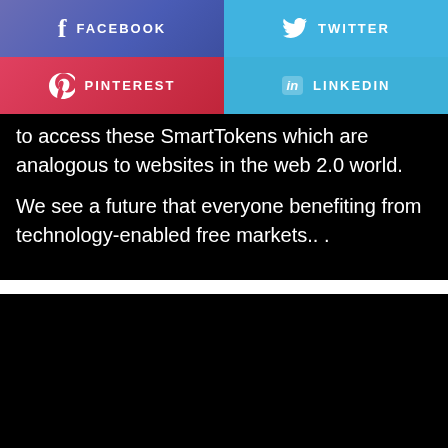[Figure (infographic): Social media share buttons: Facebook (purple-blue), Twitter (light blue), Pinterest (red), LinkedIn (light blue)]
to access these SmartTokens which are analogous to websites in the web 2.0 world.

We see a future that everyone benefiting from technology-enabled free markets.. .
[Figure (screenshot): Black video player area with two white dots at the bottom center]